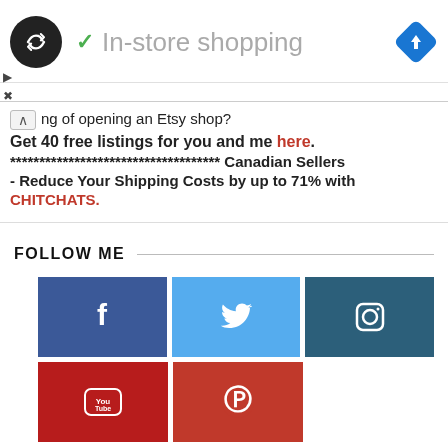[Figure (logo): Black circle logo with double arrow/infinity icon and green checkmark with 'In-store shopping' text and blue diamond navigation icon]
ng of opening an Etsy shop?
Get 40 free listings for you and me here.
************************************ Canadian Sellers - Reduce Your Shipping Costs by up to 71% with CHITCHATS.
FOLLOW ME
[Figure (infographic): Social media icons grid: Facebook (blue), Twitter (light blue), Instagram (dark teal), YouTube (red), Pinterest (red)]